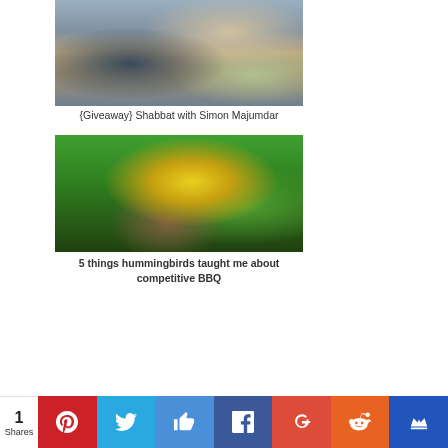[Figure (photo): A man cooking at a kitchen table with a young child in a high chair in the background, various food ingredients spread on the table]
{Giveaway} Shabbat with Simon Majumdar
[Figure (photo): A hummingbird hovering near a yellow sunflower against a green background]
5 things hummingbirds taught me about competitive BBQ
1 Shares